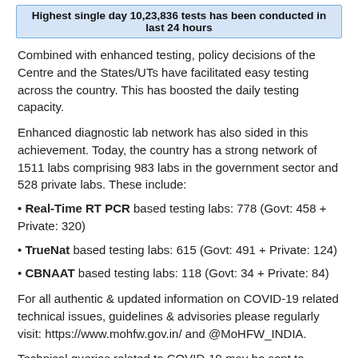Highest single day 10,23,836 tests has been conducted in last 24 hours
Combined with enhanced testing, policy decisions of the Centre and the States/UTs have facilitated easy testing across the country. This has boosted the daily testing capacity.
Enhanced diagnostic lab network has also sided in this achievement. Today, the country has a strong network of 1511 labs comprising 983 labs in the government sector and 528 private labs. These include:
Real-Time RT PCR based testing labs: 778 (Govt: 458 + Private: 320)
TrueNat based testing labs: 615 (Govt: 491 + Private: 124)
CBNAAT based testing labs: 118 (Govt: 34 + Private: 84)
For all authentic & updated information on COVID-19 related technical issues, guidelines & advisories please regularly visit: https://www.mohfw.gov.in/ and @MoHFW_INDIA.
Technical queries related to COVID-19 may be sent to technicalquery.covid19@gov.in and other queries on